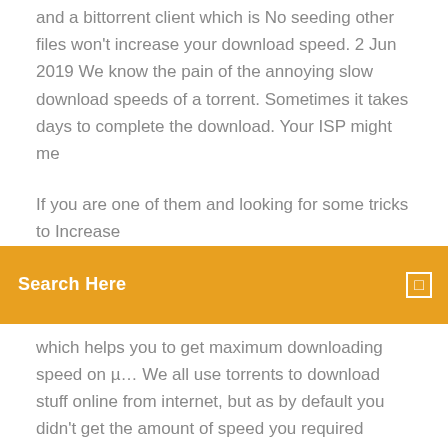and a bittorrent client which is No seeding other files won't increase your download speed. 2 Jun 2019 We know the pain of the annoying slow download speeds of a torrent. Sometimes it takes days to complete the download. Your ISP might me
If you are one of them and looking for some tricks to Increase
Search Here
which helps you to get maximum downloading speed on µ… We all use torrents to download stuff online from internet, but as by default you didn't get the amount of speed you required generally from internet provider, you usually afraid to run any downloa… Torrent Downloading is one of the best way to download files from Internet. uTorrent is one of the most popular BitTorrent clients, it is easy to Use and very efficient. Torrent Software - Free Download Torrent - Top 4 Download - Top4Download.com offers free software downloads for